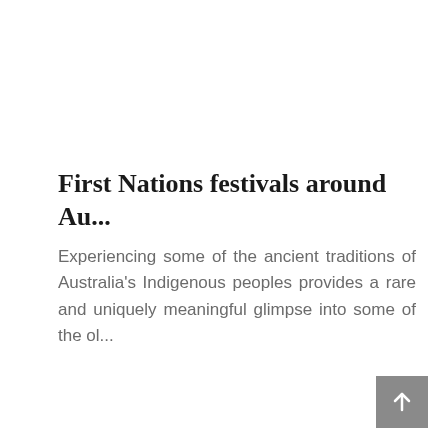First Nations festivals around Au...
Experiencing some of the ancient traditions of Australia's Indigenous peoples provides a rare and uniquely meaningful glimpse into some of the ol...